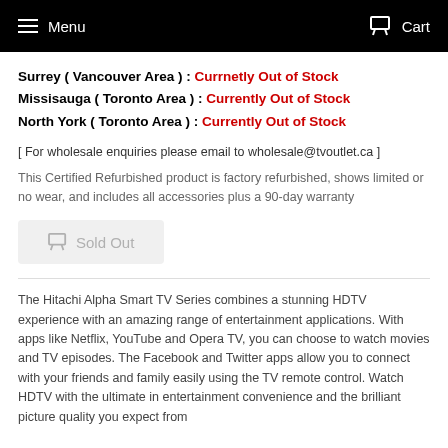Menu   Cart
Surrey ( Vancouver Area ) : Currnetly Out of Stock
Missisauga ( Toronto Area ) : Currently Out of Stock
North York ( Toronto Area ) : Currently Out of Stock
[ For wholesale enquiries please email to wholesale@tvoutlet.ca ]
This Certified Refurbished product is factory refurbished, shows limited or no wear, and includes all accessories plus a 90-day warranty
[Figure (other): Sold Out button with cart icon]
The Hitachi Alpha Smart TV Series combines a stunning HDTV experience with an amazing range of entertainment applications. With apps like Netflix, YouTube and Opera TV, you can choose to watch movies and TV episodes. The Facebook and Twitter apps allow you to connect with your friends and family easily using the TV remote control. Watch HDTV with the ultimate in entertainment convenience and the brilliant picture quality you expect from